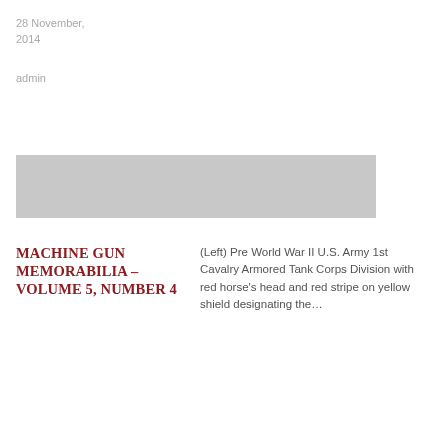28 November, 2014
admin
[Figure (photo): Gray placeholder image for article thumbnail]
MACHINE GUN MEMORABILIA – VOLUME 5, NUMBER 4
(Left) Pre World War II U.S. Army 1st Cavalry Armored Tank Corps Division with red horse's head and red stripe on yellow shield designating the…
16 December, 2013
admin
[Figure (photo): Gray placeholder image for second article thumbnail]
MACHINE GUN
World War I era U.S. Cavalry officer's tunic collar insignia. Worn in pairs,